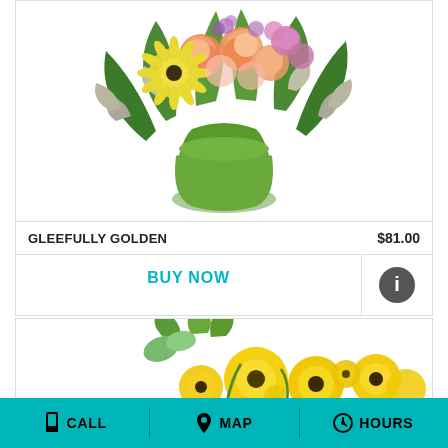[Figure (photo): Flower arrangement in a green vase with colorful blooms including orange carnations, yellow gerberas, and purple flowers with greenery]
GLEEFULLY GOLDEN
$81.00
BUY NOW
[Figure (photo): Yellow flower arrangement with gerbera daisies and greenery, partially visible]
CALL   MAP   HOURS